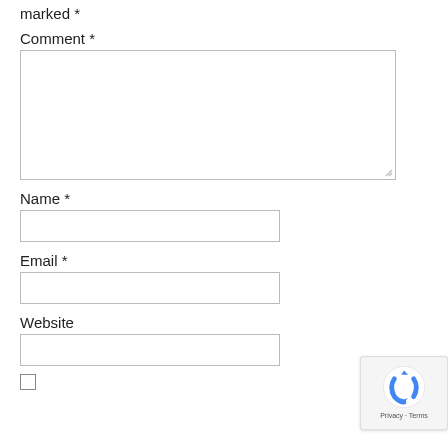marked *
Comment *
[Figure (other): Large textarea input field for comment]
Name *
[Figure (other): Single-line text input field for name]
Email *
[Figure (other): Single-line text input field for email]
Website
[Figure (other): Single-line text input field for website]
[Figure (other): Checkbox input]
[Figure (other): reCAPTCHA badge with Privacy and Terms links]